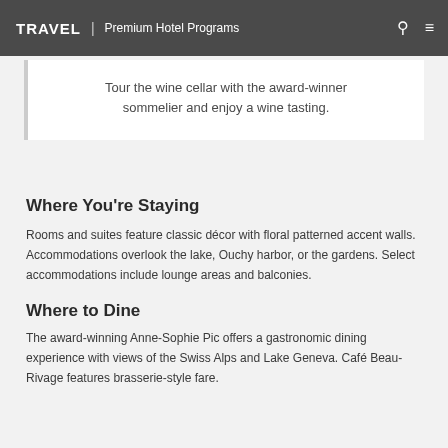TRAVEL | Premium Hotel Programs
Tour the wine cellar with the award-winner sommelier and enjoy a wine tasting.
Where You're Staying
Rooms and suites feature classic décor with floral patterned accent walls. Accommodations overlook the lake, Ouchy harbor, or the gardens. Select accommodations include lounge areas and balconies.
Where to Dine
The award-winning Anne-Sophie Pic offers a gastronomic dining experience with views of the Swiss Alps and Lake Geneva. Café Beau-Rivage features brasserie-style fare.